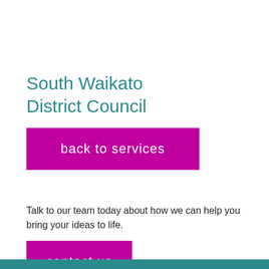South Waikato District Council
[Figure (other): Purple button with handwritten-style text 'back to services']
Talk to our team today about how we can help you bring your ideas to life.
[Figure (other): Purple button with handwritten-style text 'contact us']